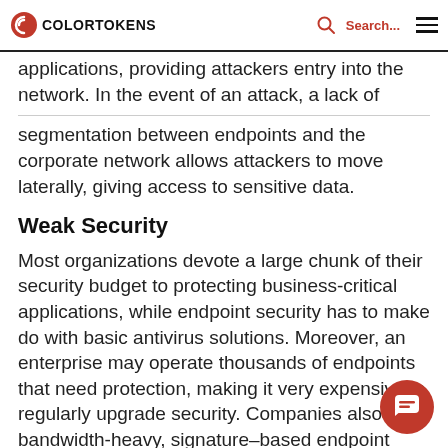COLORTOKENS | Search...
applications, providing attackers entry into the network. In the event of an attack, a lack of segmentation between endpoints and the corporate network allows attackers to move laterally, giving access to sensitive data.
Weak Security
Most organizations devote a large chunk of their security budget to protecting business-critical applications, while endpoint security has to make do with basic antivirus solutions. Moreover, an enterprise may operate thousands of endpoints that need protection, making it very expensive to regularly upgrade security. Companies also use bandwidth-heavy, signature–based endpoint security – meant general-purpose endpoints like laptops and desktops – on special-purpose devices. This